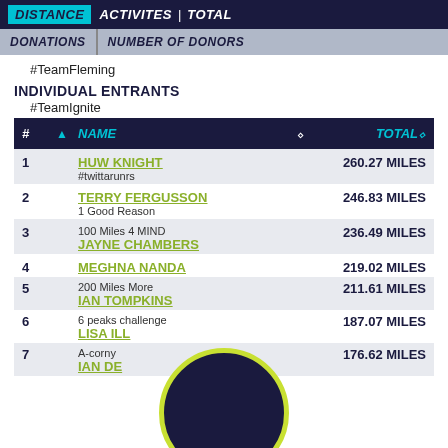DISTANCE | ACTIVITES | TOTAL
DONATIONS | NUMBER OF DONORS
#TeamFleming
INDIVIDUAL ENTRANTS
#TeamIgnite
| # |  | NAME |  | TOTAL |
| --- | --- | --- | --- | --- |
| 1 |  | HUW KNIGHT
#twittarunrs |  | 260.27 MILES |
| 2 |  | TERRY FERGUSSON
1 Good Reason |  | 246.83 MILES |
| 3 |  | JAYNE CHAMBERS
100 Miles 4 MIND |  | 236.49 MILES |
| 4 |  | MEGHNA NANDA
100 Miles 4 MIND |  | 219.02 MILES |
| 5 |  | IAN TOMPKINS
200 Miles More |  | 211.61 MILES |
| 6 |  | 6 peaks challenge
[NAME HIDDEN] |  | 187.07 MILES |
| 7 |  | A-corny
IAN DE [HIDDEN] |  | 176.62 MILES |